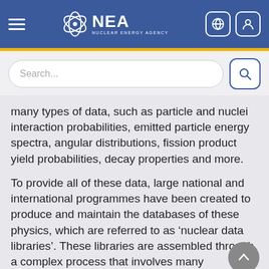NEA - Nuclear Energy Agency
many types of data, such as particle and nuclei interaction probabilities, emitted particle energy spectra, angular distributions, fission product yield probabilities, decay properties and more.
To provide all of these data, large national and international programmes have been created to produce and maintain the databases of these physics, which are referred to as ‘nuclear data libraries’. These libraries are assembled through a complex process that involves many thousands of